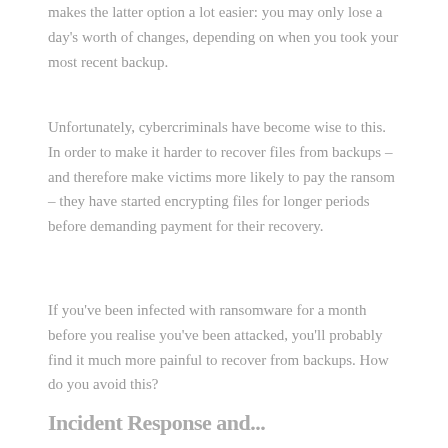makes the latter option a lot easier: you may only lose a day's worth of changes, depending on when you took your most recent backup.
Unfortunately, cybercriminals have become wise to this. In order to make it harder to recover files from backups – and therefore make victims more likely to pay the ransom – they have started encrypting files for longer periods before demanding payment for their recovery.
If you've been infected with ransomware for a month before you realise you've been attacked, you'll probably find it much more painful to recover from backups. How do you avoid this?
Incident Response and...